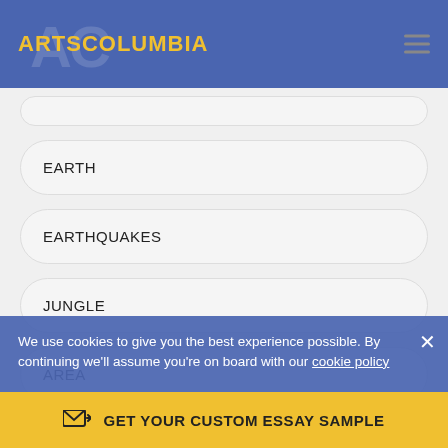ARTSCOLUMBIA
EARTH
EARTHQUAKES
JUNGLE
AREA
ENVIRONMENT
RESOURCES
We use cookies to give you the best experience possible. By continuing we'll assume you're on board with our cookie policy
GET YOUR CUSTOM ESSAY SAMPLE